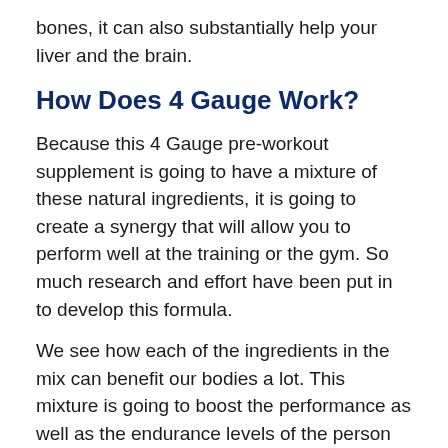bones, it can also substantially help your liver and the brain.
How Does 4 Gauge Work?
Because this 4 Gauge pre-workout supplement is going to have a mixture of these natural ingredients, it is going to create a synergy that will allow you to perform well at the training or the gym. So much research and effort have been put in to develop this formula.
We see how each of the ingredients in the mix can benefit our bodies a lot. This mixture is going to boost the performance as well as the endurance levels of the person consuming it. Many people see a significant difference in the way they perform after intaking this particular drink.